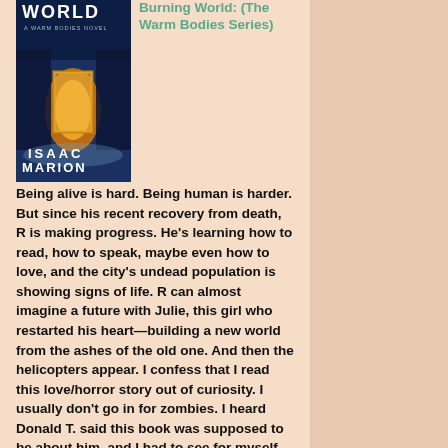[Figure (illustration): Book cover for 'The Burning World: A Warm Bodies Novel' by Isaac Marion — dark blue/orange tones showing a doorway with light]
Burning World: (The Warm Bodies Series)
Being alive is hard. Being human is harder. But since his recent recovery from death, R is making progress. He's learning how to read, how to speak, maybe even how to love, and the city's undead population is showing signs of life. R can almost imagine a future with Julie, this girl who restarted his heart—building a new world from the ashes of the old one. And then the helicopters appear. I confess that I read this love/horror story out of curiosity. I usually don't go in for zombies. I heard Donald T. said this book was supposed to be about him, and I had to see for myself. Could be. (***)
[Figure (illustration): Book cover for 'Vengeful Games (Bad Games 2)' by Jeff Menapace — dark background with bat silhouette]
Jeff Menapace: Vengeful Games (Bad Games 2)
The Lambert family has